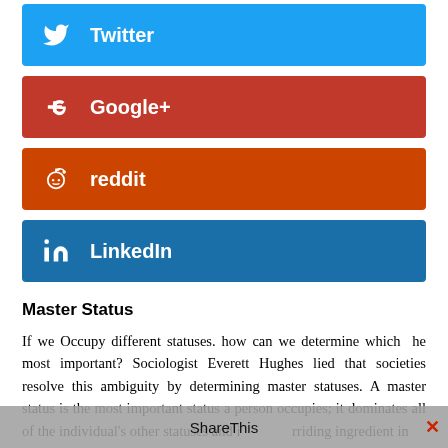Twitter
Google+
reddit
LinkedIn
Master Status
If we Occupy different statuses. how can we determine which  he most important? Sociologist Everett Hughes lied that societies resolve this ambiguity by determining master statuses. A master status is the most important status a person occupies; it dominates all of the individual's other statuses and is the overriding ingredient in
ShareThis